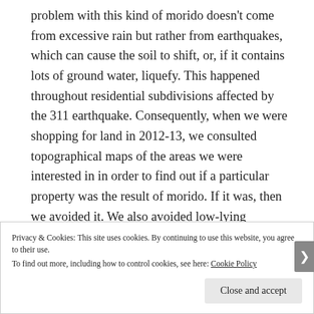problem with this kind of morido doesn't come from excessive rain but rather from earthquakes, which can cause the soil to shift, or, if it contains lots of ground water, liquefy. This happened throughout residential subdivisions affected by the 311 earthquake. Consequently, when we were shopping for land in 2012-13, we consulted topographical maps of the areas we were interested in in order to find out if a particular property was the result of morido. If it was, then we avoided it. We also avoided low-lying properties because of
Privacy & Cookies: This site uses cookies. By continuing to use this website, you agree to their use.
To find out more, including how to control cookies, see here: Cookie Policy
Close and accept